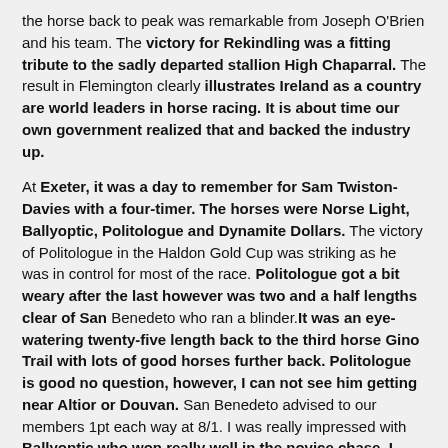the horse back to peak was remarkable from Joseph O'Brien and his team. The victory for Rekindling was a fitting tribute to the sadly departed stallion High Chaparral. The result in Flemington clearly illustrates Ireland as a country are world leaders in horse racing. It is about time our own government realized that and backed the industry up.
At Exeter, it was a day to remember for Sam Twiston- Davies with a four-timer. The horses were Norse Light, Ballyoptic, Politologue and Dynamite Dollars. The victory of Politologue in the Haldon Gold Cup was striking as he was in control for most of the race. Politologue got a bit weary after the last however was two and a half lengths clear of San Benedeto who ran a blinder.It was an eye-watering twenty-five length back to the third horse Gino Trail with lots of good horses further back. Politologue is good no question, however, I can not see him getting near Altior or Douvan. San Benedeto advised to our members 1pt each way at 8/1. I was really impressed with Ballyoptic who won really well in the novice chase. I think Ballyoptic looks a real four-mile type for the festival.
At Redcar, Keith Dalgleish was on the mark with Up Sticks And